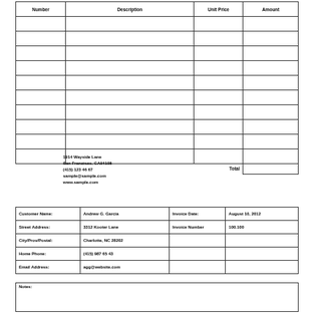| Number | Description | Unit Price | Amount |
| --- | --- | --- | --- |
|  |  |  |  |
|  |  |  |  |
|  |  |  |  |
|  |  |  |  |
|  |  |  |  |
|  |  |  |  |
|  |  |  |  |
|  |  |  |  |
|  |  |  |  |
|  |  |  |   |
|  |  |  | Total |
1914 Wayside Lane
San Francisco, CA94108
(415) 123 46 67
sample@sample.com
www.sample.com
| Customer Name: | Andrew G. Garcia | Invoice Date: | August 10, 2012 |
| --- | --- | --- | --- |
| Street Address: | 3312 Kooter Lane | Invoice Number | 100.100 |
| City/Prov/Postal: | Charlotte, NC 28202 |  |  |
| Home Phone: | (415) 987 65 43 |  |  |
| Email Address: | agg@website.com |  |  |
| Notes: |
| --- |
|  |